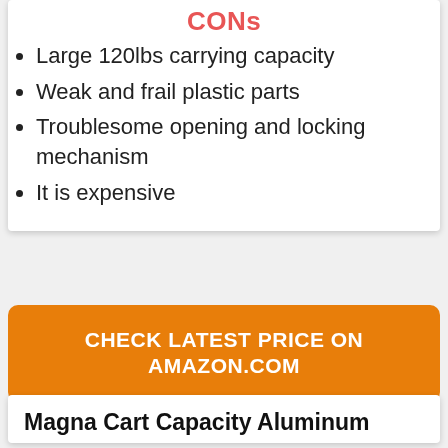CONs
Large 120lbs carrying capacity
Weak and frail plastic parts
Troublesome opening and locking mechanism
It is expensive
CHECK LATEST PRICE ON AMAZON.COM
Magna Cart Capacity Aluminum